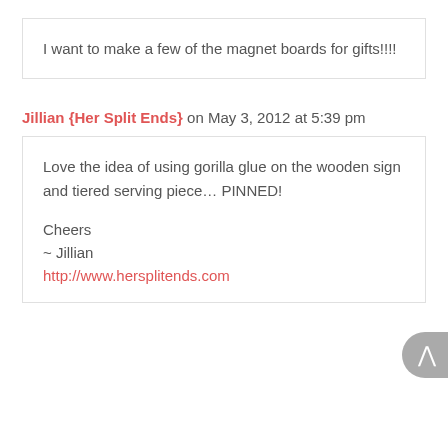I want to make a few of the magnet boards for gifts!!!!
Jillian {Her Split Ends} on May 3, 2012 at 5:39 pm
Love the idea of using gorilla glue on the wooden sign and tiered serving piece… PINNED!

Cheers
~ Jillian
http://www.hersplitends.com